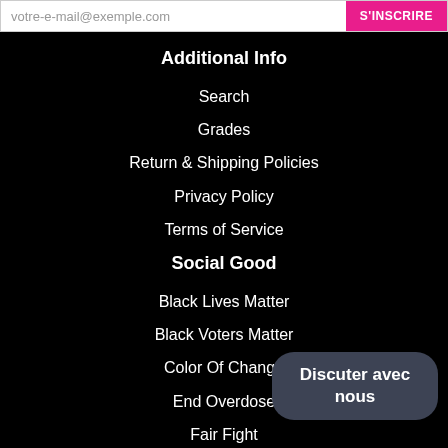votre-e-mail@exemple.com  S'INSCRIRE
Additional Info
Search
Grades
Return & Shipping Policies
Privacy Policy
Terms of Service
Social Good
Black Lives Matter
Black Voters Matter
Color Of Change
End Overdose
Fair Fight
Girls Inc. PA/NJ
Discuter avec nous